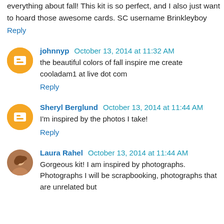everything about fall! This kit is so perfect, and I also just want to hoard those awesome cards. SC username Brinkleyboy
Reply
johnnyp October 13, 2014 at 11:32 AM
the beautiful colors of fall inspire me create cooladam1 at live dot com
Reply
Sheryl Berglund October 13, 2014 at 11:44 AM
I'm inspired by the photos I take!
Reply
Laura Rahel October 13, 2014 at 11:44 AM
Gorgeous kit! I am inspired by photographs. Photographs I will be scrapbooking, photographs that are unrelated but